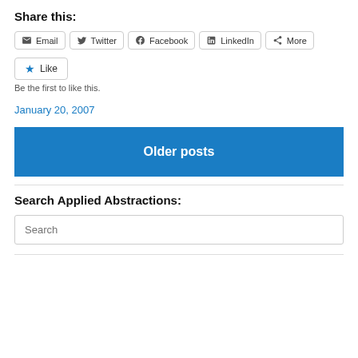Share this:
Email  Twitter  Facebook  LinkedIn  More
Like
Be the first to like this.
January 20, 2007
Older posts
Search Applied Abstractions:
Search